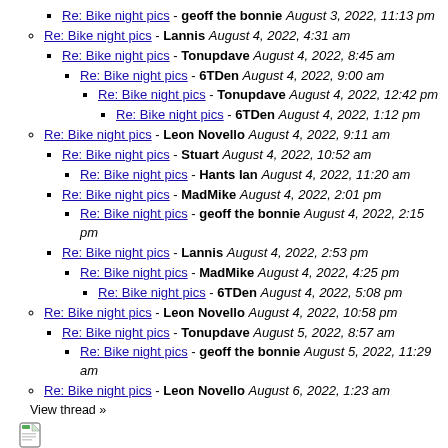Re: Bike night pics - geoff the bonnie August 3, 2022, 11:13 pm
Re: Bike night pics - Lannis August 4, 2022, 4:31 am
Re: Bike night pics - Tonupdave August 4, 2022, 8:45 am
Re: Bike night pics - 6TDen August 4, 2022, 9:00 am
Re: Bike night pics - Tonupdave August 4, 2022, 12:42 pm
Re: Bike night pics - 6TDen August 4, 2022, 1:12 pm
Re: Bike night pics - Leon Novello August 4, 2022, 9:11 am
Re: Bike night pics - Stuart August 4, 2022, 10:52 am
Re: Bike night pics - Hants Ian August 4, 2022, 11:20 am
Re: Bike night pics - MadMike August 4, 2022, 2:01 pm
Re: Bike night pics - geoff the bonnie August 4, 2022, 2:15 pm
Re: Bike night pics - Lannis August 4, 2022, 2:53 pm
Re: Bike night pics - MadMike August 4, 2022, 4:25 pm
Re: Bike night pics - 6TDen August 4, 2022, 5:08 pm
Re: Bike night pics - Leon Novello August 4, 2022, 10:58 pm
Re: Bike night pics - Tonupdave August 5, 2022, 8:57 am
Re: Bike night pics - geoff the bonnie August 5, 2022, 11:29 am
Re: Bike night pics - Leon Novello August 6, 2022, 1:23 am
View thread »
[Figure (illustration): Small document/file icon with a green and white design]
Nice 90 mile each way ride - Andy C August 3, 2022, 7:09 pm
Re: Nice 90 mile each way ride - JERRY August 3, 2022, 9:16 pm
Re: Nice 90 mile each way ride - geoff the bonnie August 3, 2022, 10:40 pm
View thread »
[Figure (illustration): Small document/file icon partially visible at bottom]